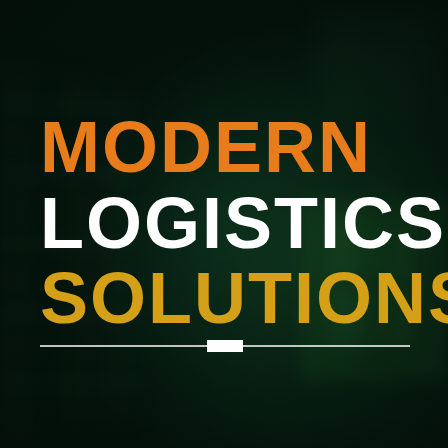[Figure (photo): Dark teal/green blurred warehouse or industrial background with shelving and boxes visible]
MODERN LOGISTICS SOLUTIONS